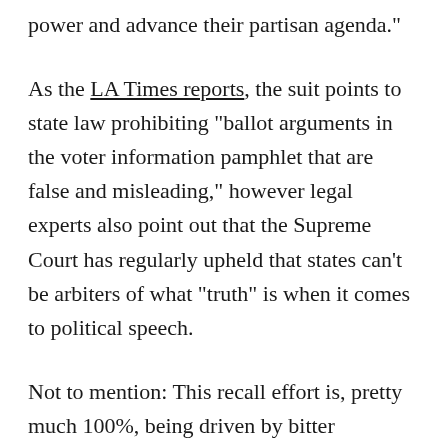power and advance their partisan agenda."
As the LA Times reports, the suit points to state law prohibiting "ballot arguments in the voter information pamphlet that are false and misleading," however legal experts also point out that the Supreme Court has regularly upheld that states can't be arbiters of what "truth" is when it comes to political speech.
Not to mention: This recall effort is, pretty much 100%, being driven by bitter Republicans. And the ballot argument for the "Yes" side was written by racist Republican ex-cop Orrin Heatlie, who previously was a